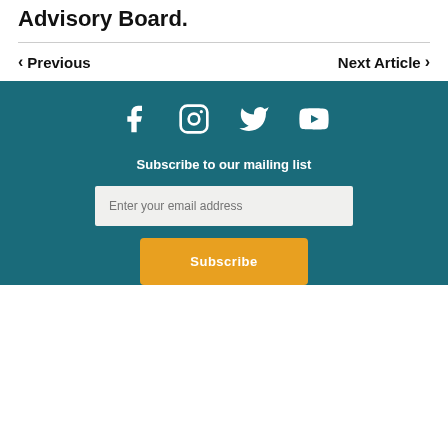Advisory Board.
< Previous
Next Article >
[Figure (infographic): Footer section with social media icons (Facebook, Instagram, Twitter, YouTube), a mailing list subscription form with email input and Subscribe button, on a teal background.]